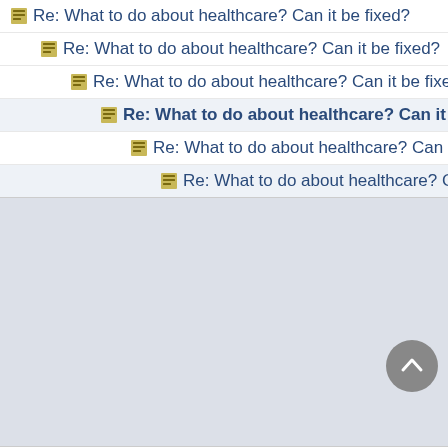Re: What to do about healthcare? Can it be fixed?
Re: What to do about healthcare? Can it be fixed?
Re: What to do about healthcare? Can it be fixed?
Re: What to do about healthcare? Can it be fixed?
Re: What to do about healthcare? Can it be fixed?
Re: What to do about healthcare? Can it be fixed?
Forum Rules · Mark All Read
Powered by UBB.threads™ PHP Forum Software 7.7.5
(Release build 20201027)
Responsive Width: Narrow < 460px
PHP: 5.5.38 Page Time: 0.600s Queries: 17 (0.535s)
Memory: 5.1611 MB (Peak: 5.8127 MB) Data Comp: Zlib
Server Time: 2022-09-06 03:28:02 UTC
Valid HTML 5 and Valid CSS